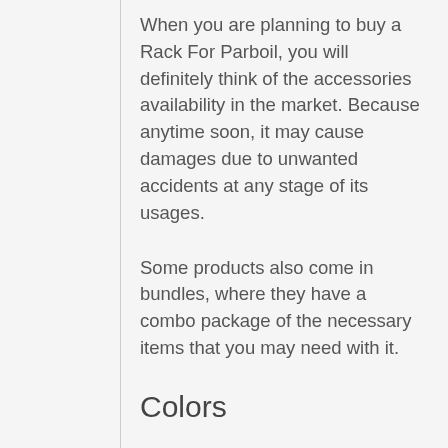When you are planning to buy a Rack For Parboil, you will definitely think of the accessories availability in the market. Because anytime soon, it may cause damages due to unwanted accidents at any stage of its usages.
Some products also come in bundles, where they have a combo package of the necessary items that you may need with it.
Colors
Yup, color does matter! When you are planning to buy a Rack For...